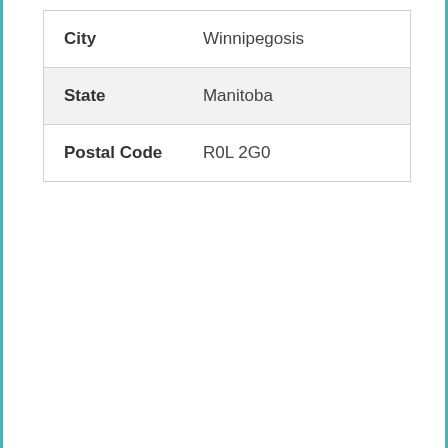| City | Winnipegosis |
| State | Manitoba |
| Postal Code | R0L 2G0 |